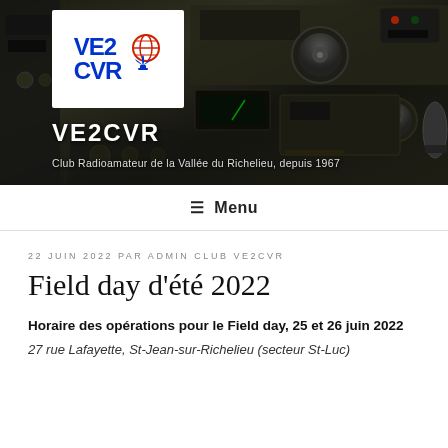[Figure (photo): Header banner showing VE2CVR club logo on white background overlaid on dark photo of vintage radio equipment/ham radio gear with knobs and dials. Site title VE2CVR and subtitle text visible over the photo.]
VE2CVR
Club Radioamateur de la Vallée du Richelieu, depuis 1967
≡ Menu
22 JUIN 2022 PAR ADMIN CLUB VE2CVR
Field day d'été 2022
Horaire des opérations pour le Field day, 25 et 26 juin 2022
27 rue Lafayette, St-Jean-sur-Richelieu (secteur St-Luc)